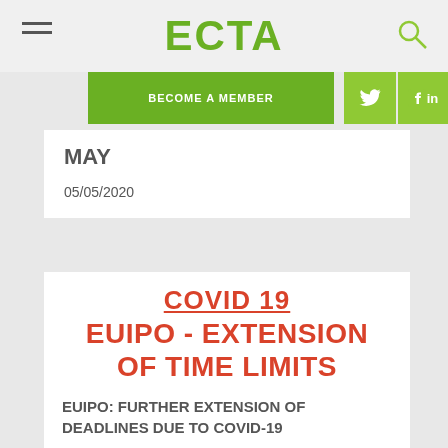ECTA
BECOME A MEMBER
MAY
05/05/2020
COVID 19 EUIPO - EXTENSION OF TIME LIMITS
EUIPO: FURTHER EXTENSION OF DEADLINES DUE TO COVID-19